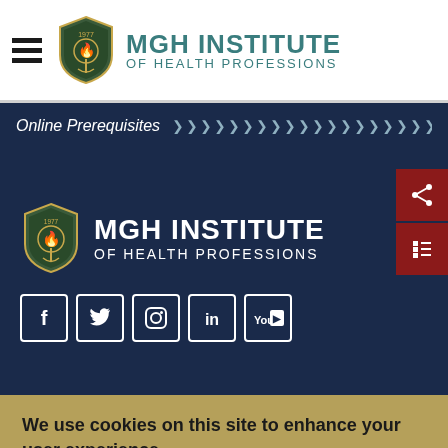[Figure (logo): MGH Institute of Health Professions logo with shield emblem in top header]
Online Prerequisites
[Figure (logo): MGH Institute of Health Professions logo with shield emblem in navy section, with social media icons (Facebook, Twitter, Instagram, LinkedIn, YouTube)]
We use cookies on this site to enhance your user experience. By clicking any link on this page you are giving your consent for us to set cookies.
OK, I agree   More info